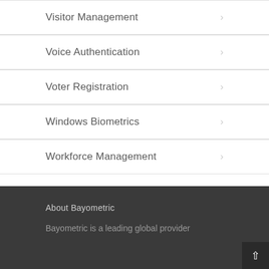Visitor Management
Voice Authentication
Voter Registration
Windows Biometrics
Workforce Management
About Bayometric
Bayometric is a leading global provider